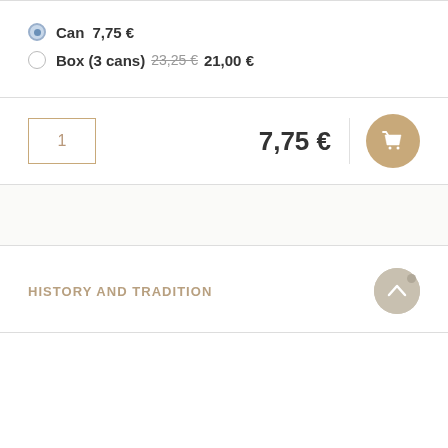Can  7,75 €
Box (3 cans)  23,25 €  21,00 €
1
7,75 €
HISTORY AND TRADITION